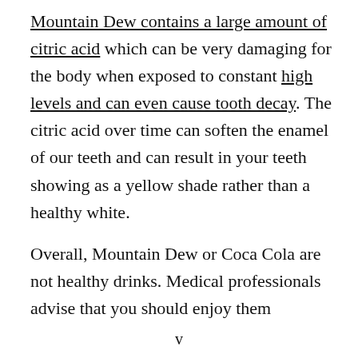Mountain Dew contains a large amount of citric acid which can be very damaging for the body when exposed to constant high levels and can even cause tooth decay. The citric acid over time can soften the enamel of our teeth and can result in your teeth showing as a yellow shade rather than a healthy white.
Overall, Mountain Dew or Coca Cola are not healthy drinks. Medical professionals advise that you should enjoy them
v